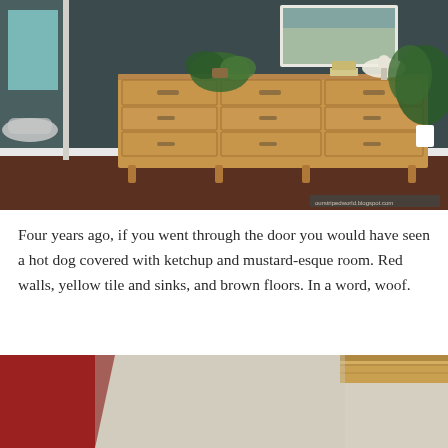[Figure (photo): Interior room photo showing a mid-century modern wooden dresser with nine drawers against a dark teal/charcoal wall. A fern plant, a white lamp, stacked books, and a large leafy plant are on top of the dresser. A clawfoot bathtub is partially visible on the left side. Dark wood floors and white baseboard trim.]
Four years ago, if you went through the door you would have seen a hot dog covered with ketchup and mustard-esque room.  Red walls, yellow tile and sinks, and brown floors.  In a word, woof.
[Figure (photo): Close-up interior photo showing red walls meeting a beige/cream textured floor or surface, with a wooden trim element visible in the upper right corner.]